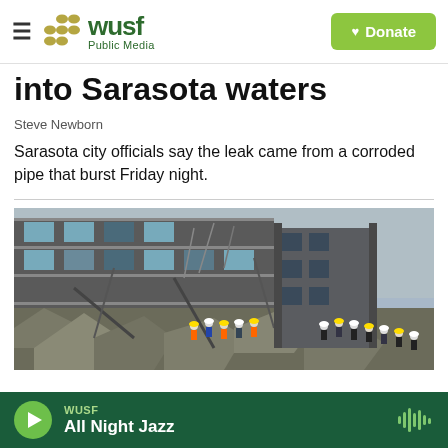WUSF Public Media
into Sarasota waters
Steve Newborn
Sarasota city officials say the leak came from a corroded pipe that burst Friday night.
[Figure (photo): Emergency responders and rescue workers amid the rubble of a partially collapsed multi-story building. Workers in hard hats are visible among the debris and twisted metal.]
WUSF All Night Jazz